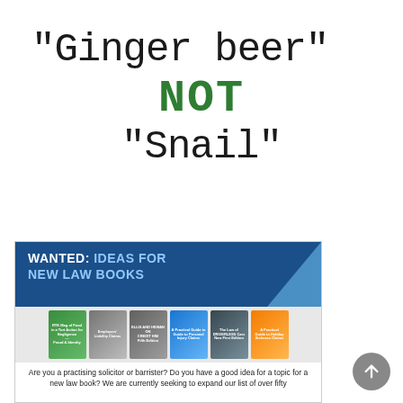"Ginger beer" NOT "Snail"
[Figure (illustration): Advertisement banner for law book ideas. Header reads 'WANTED: IDEAS FOR NEW LAW BOOKS' on dark blue background. Below are images of six law books, followed by text: 'Are you a practising solicitor or barrister? Do you have a good idea for a topic for a new law book? We are currently seeking to expand our list of over fifty']